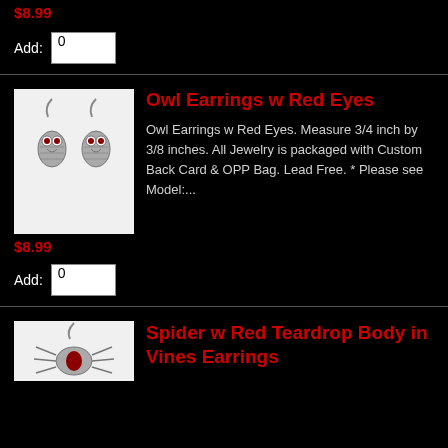$8.99
Add: 0
Owl Earrings w Red Eyes
Owl Earrings w Red Eyes. Measure 3/4 inch by 3/8 inches. All Jewelry is packaged with Custom Back Card & OPP Bag. Lead Free. * Please see Model:...
$8.99
Add: 0
Spider w Red Teardrop Body in Vines Earrings